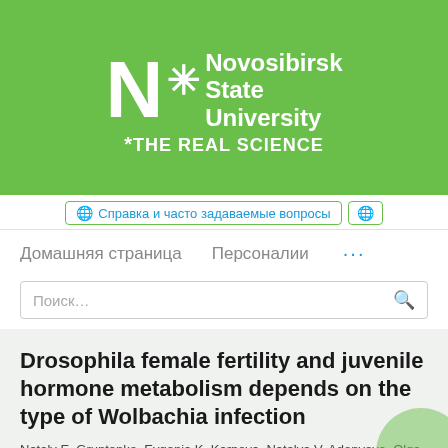[Figure (logo): Novosibirsk State University logo with green background. Large white N with asterisk, text 'Novosibirsk State University' and '*THE REAL SCIENCE' tagline.]
Справка и часто задаваемые вопросы
Домашняя страница   Персоналии   ...
Поиск…
Drosophila female fertility and juvenile hormone metabolism depends on the type of Wolbachia infection
Nataly E. Gruntenko, Evgenia K. Karpova, Natalya V. Adonyeva, Olga V. Andreenkova, Elena V. Burdina